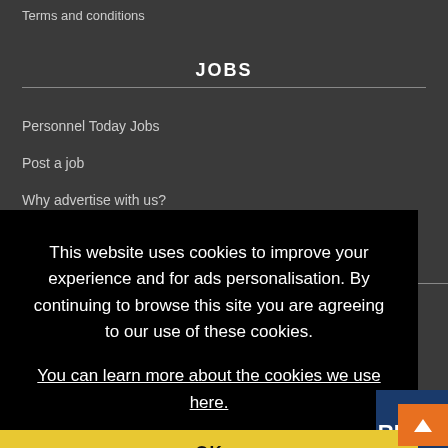Terms and conditions
JOBS
Personnel Today Jobs
Post a job
Why advertise with us?
This website uses cookies to improve your experience and for ads personalisation. By continuing to browse this site you are agreeing to our use of these cookies. You can learn more about the cookies we use here.
OK